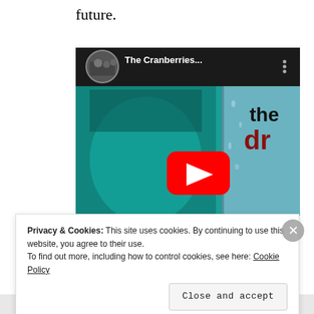future.
[Figure (screenshot): Embedded YouTube video player showing The Cranberries music video thumbnail. The video thumbnail shows a close-up face with teal/green tones and partial text 'the dr' in dark and red letters. The YouTube player header shows the channel name 'The Cranberries...' with a red YouTube play button overlay in the center.]
Privacy & Cookies: This site uses cookies. By continuing to use this website, you agree to their use.
To find out more, including how to control cookies, see here: Cookie Policy
Close and accept